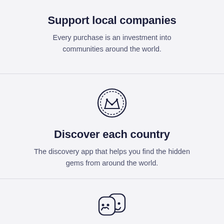Support local companies
Every purchase is an investment into communities around the world.
[Figure (illustration): Crown badge / seal icon — a decorative circular badge outline with a crown symbol inside, drawn in dark navy outline style]
Discover each country
The discovery app that helps you find the hidden gems from around the world.
[Figure (illustration): Theatre masks / drama icons — two overlapping mask faces (comedy/tragedy style) in dark navy outline style, partially visible at bottom of page]